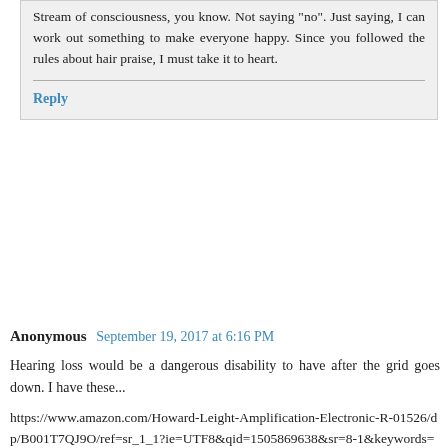Stream of consciousness, you know. Not saying "no". Just saying, I can work out something to make everyone happy. Since you followed the rules about hair praise, I must take it to heart.
Reply
Anonymous  September 19, 2017 at 6:16 PM
Hearing loss would be a dangerous disability to have after the grid goes down. I have these...
https://www.amazon.com/Howard-Leight-Amplification-Electronic-R-01526/dp/B001T7QJ9O/ref=sr_1_1?ie=UTF8&qid=1505869638&sr=8-1&keywords=howard+leight+impact+sport
They give you super hearing, which I intend to use if I ever needed to pull guard duty. Another idea I had to preserve my hearing is to install ear plugs if I knew gunfire was imminent. I would think you'd be able to be more alert to your surroundings, and what's going on with noises being